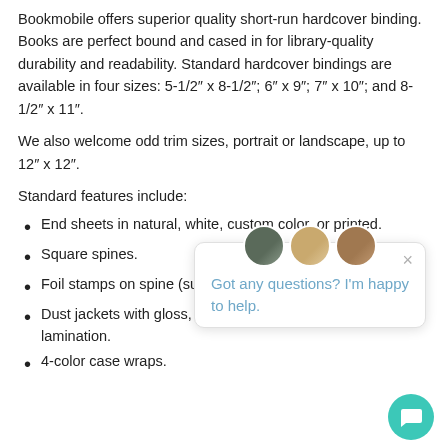Bookmobile offers superior quality short-run hardcover binding. Books are perfect bound and cased in for library-quality durability and readability. Standard hardcover bindings are available in four sizes: 5-1/2″ x 8-1/2″; 6″ x 9″; 7″ x 10″; and 8-1/2″ x 11″.
We also welcome odd trim sizes, portrait or landscape, up to 12″ x 12″.
Standard features include:
End sheets in natural, white, custom color, or printed.
Square spines.
Foil stamps on spine (supplied by client).
Dust jackets with gloss, matte, or soft-touch velvet matte lamination.
4-color case wraps.
[Figure (screenshot): Chat popup widget with three circular avatar photos, a close button (×), and the message 'Got any questions? I'm happy to help.' in blue text. A teal circular chat button with a speech bubble icon appears in the bottom-right corner.]